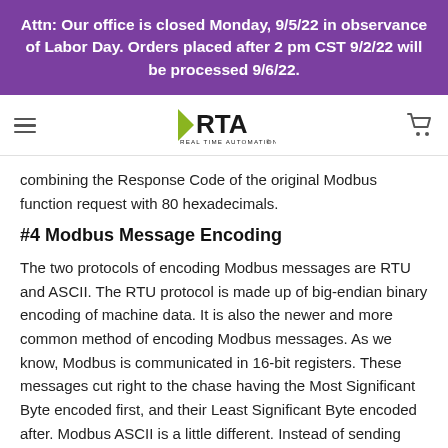Attn: Our office is closed Monday, 9/5/22 in observance of Labor Day. Orders placed after 2 pm CST 9/2/22 will be processed 9/6/22.
[Figure (logo): Real Time Automation (RTA) logo with green arrow and black text]
combining the Response Code of the original Modbus function request with 80 hexadecimals.
#4 Modbus Message Encoding
The two protocols of encoding Modbus messages are RTU and ASCII. The RTU protocol is made up of big-endian binary encoding of machine data. It is also the newer and more common method of encoding Modbus messages. As we know, Modbus is communicated in 16-bit registers. These messages cut right to the chase having the Most Significant Byte encoded first, and their Least Significant Byte encoded after. Modbus ASCII is a little different. Instead of sending